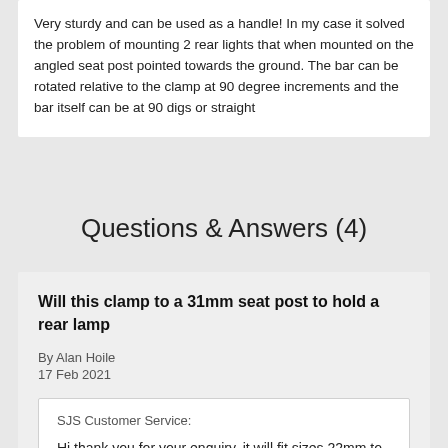Very sturdy and can be used as a handle! In my case it solved the problem of mounting 2 rear lights that when mounted on the angled seat post pointed towards the ground. The bar can be rotated relative to the clamp at 90 degree increments and the bar itself can be at 90 digs or straight
Questions & Answers (4)
Will this clamp to a 31mm seat post to hold a rear lamp
By Alan Hoile
17 Feb 2021
SJS Customer Service:
Hi thank you for your enquiry, it will fit sizes 22mm to 38mm so will be fine.